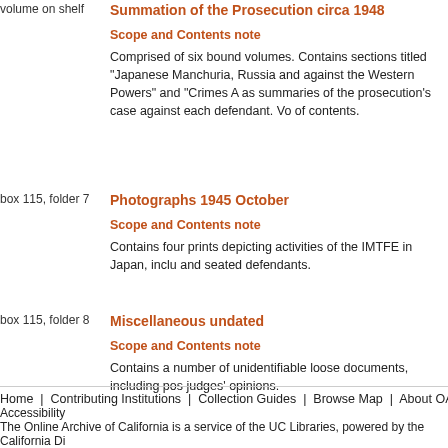volume on shelf
Summation of the Prosecution circa 1948
Scope and Contents note
Comprised of six bound volumes. Contains sections titled "Japanese Manchuria, Russia and against the Western Powers" and "Crimes A as summaries of the prosecution's case against each defendant. Vo of contents.
box 115, folder 7
Photographs 1945 October
Scope and Contents note
Contains four prints depicting activities of the IMTFE in Japan, inclu and seated defendants.
box 115, folder 8
Miscellaneous undated
Scope and Contents note
Contains a number of unidentifiable loose documents, including pos judges' opinions.
Home | Contributing Institutions | Collection Guides | Browse Map | About OAC | Accessibility
The Online Archive of California is a service of the UC Libraries, powered by the California Di